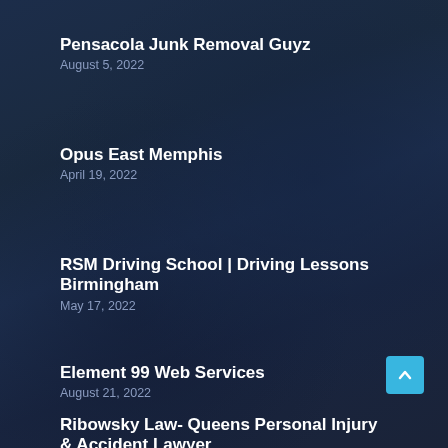Pensacola Junk Removal Guyz
August 5, 2022
Opus East Memphis
April 19, 2022
RSM Driving School | Driving Lessons Birmingham
May 17, 2022
Element 99 Web Services
August 21, 2022
Ribowsky Law- Queens Personal Injury & Accident Lawyer